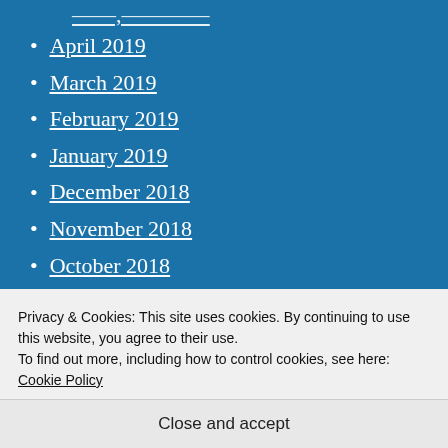April 2019
March 2019
February 2019
January 2019
December 2018
November 2018
October 2018
September 2018
August 2018
July 2018
June 2018
Privacy & Cookies: This site uses cookies. By continuing to use this website, you agree to their use.
To find out more, including how to control cookies, see here: Cookie Policy
Close and accept
January 2018